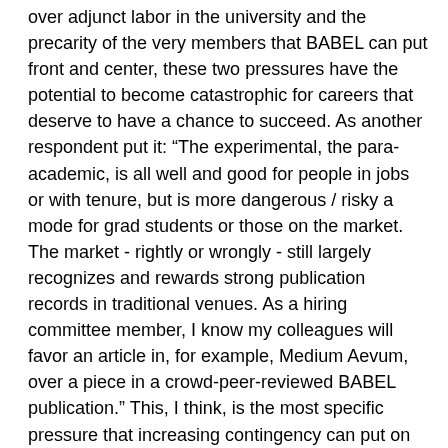over adjunct labor in the university and the precarity of the very members that BABEL can put front and center, these two pressures have the potential to become catastrophic for careers that deserve to have a chance to succeed. As another respondent put it: “The experimental, the para-academic, is all well and good for people in jobs or with tenure, but is more dangerous / risky a mode for grad students or those on the market. The market - rightly or wrongly - still largely recognizes and rewards strong publication records in traditional venues. As a hiring committee member, I know my colleagues will favor an article in, for example, Medium Aevum, over a piece in a crowd-peer-reviewed BABEL publication.” This, I think, is the most specific pressure that increasing contingency can put on our profession. The stakes have never been higher for young academics, and anyone in a position that is no longer precarious is, I think, obliged to also think about how we help our younger colleagues find roles either within or without the academy. BABEL can play a role in these conversations – the spotlight it has granted to certain graduate students, myself included, is undeniable. But the group must continue to push its youngest members to produce work – theoretical